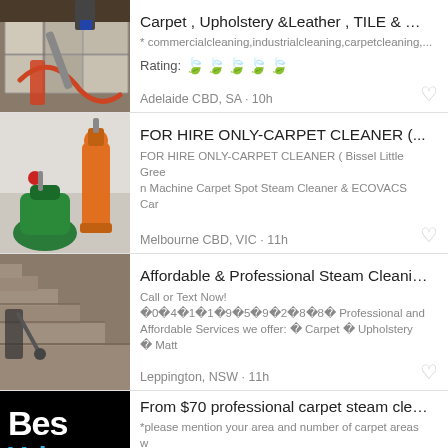[Figure (photo): Person using carpet cleaning machine on tiled/carpeted floor with orange hose]
Carpet , Upholstery &Leather , TILE & G...
* commercialcleaning,industrialcleaning,carpetcleaning,...
Rating: ✿✿✿✿✿
Adelaide CBD, SA · 10h
[Figure (photo): Green Bissell Little Green Machine carpet cleaner and orange vacuum cleaner]
FOR HIRE ONLY-CARPET CLEANER (...
FOR HIRE ONLY-CARPET CLEANER ( Bissel Little Green Machine Carpet Spot Steam Cleaner & ECOVACS Car
Melbourne CBD, VIC · 11h
[Figure (photo): Person steam cleaning carpeted stairs with professional equipment]
Affordable & Professional Steam Cleanin...
Call or Text Now! ꀀ0ꀀ4ꀀ1ꀀ1ꀀ9ꀀ5ꀀ9ꀀ2ꀀ8ꀀ8ꀀ Professional and Affordable Services we offer: ꀀ Carpet ꀀ Upholstery ꀀ Matt
Leppington, NSW · 11h
[Figure (logo): Best Value logo with white 'Bes' and cyan 'Valu' text on black background]
From $70 professional carpet steam clea...
*please mention your area and number of carpet areas when ask for quote. *Basic package start from $60 Best val